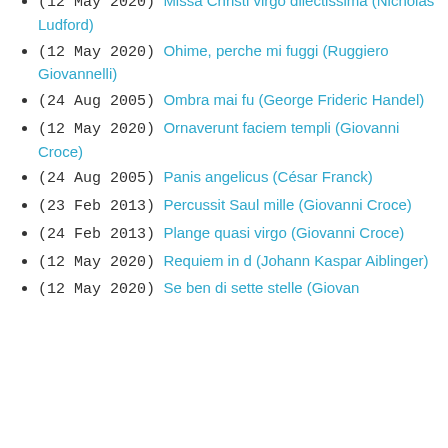(12 May 2020)  Missa Christi virgo dilectissima (Nicholas Ludford)
(12 May 2020)  Ohime, perche mi fuggi (Ruggiero Giovannelli)
(24 Aug 2005)  Ombra mai fu (George Frideric Handel)
(12 May 2020)  Ornaverunt faciem templi (Giovanni Croce)
(24 Aug 2005)  Panis angelicus (César Franck)
(23 Feb 2013)  Percussit Saul mille (Giovanni Croce)
(24 Feb 2013)  Plange quasi virgo (Giovanni Croce)
(12 May 2020)  Requiem in d (Johann Kaspar Aiblinger)
(12 May 2020)  Se ben di sette stelle (Giovan...